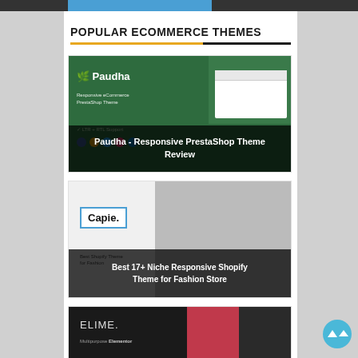POPULAR ECOMMERCE THEMES
[Figure (screenshot): Paudha - Responsive PrestaShop Theme Review - green themed ecommerce template preview]
Paudha - Responsive PrestaShop Theme Review
[Figure (screenshot): Best 17+ Niche Responsive Shopify Theme for Fashion Store - Capie theme preview with laptop mockup]
Best 17+ Niche Responsive Shopify Theme for Fashion Store
[Figure (screenshot): Elime Multipurpose Elementor theme preview with dark background and fashion product images]